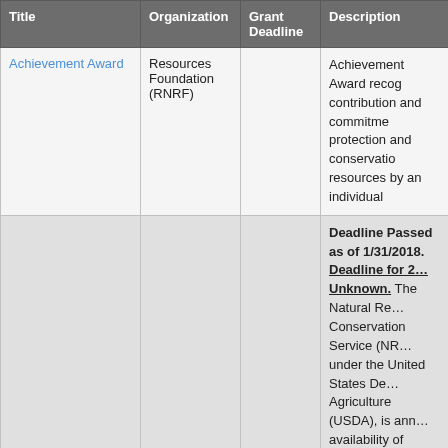| Title | Organization | Grant Deadline | Description |
| --- | --- | --- | --- |
| Achievement Award | Resources Foundation (RNRF) |  | Achievement Award recognizes contribution and commitment to protection and conservation of resources by an individual… |
|  |  |  | Deadline Passed as of 1/31/2018. Deadline for 2… Unknown. The Natural Re… Conservation Service (NR… under the United States De… Agriculture (USDA), is ann… availability of agreements … leveraging NRCS resource… local natural resource issu… collaboration and developi… community-level conserva… Successful applicant propo… originate from Iowa and fo… conservation issues as no… (B) of this notice. Collabo… provide on-the-ground sup… NRCS Field Offices are hig… Research proposals will h… |